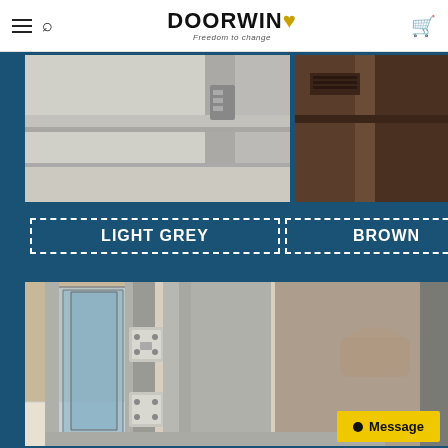DOORWIN - Freedom to change
[Figure (photo): Close-up photo of a light grey aluminum window frame profile/corner detail]
[Figure (photo): Close-up photo of a brown aluminum window frame profile/corner detail (partially visible)]
LIGHT GREY
BROWN
[Figure (photo): Close-up photo of an aluminum window hinge mechanism showing the multi-point folding/bi-fold hinge detail with glass panels and aluminum frame profiles]